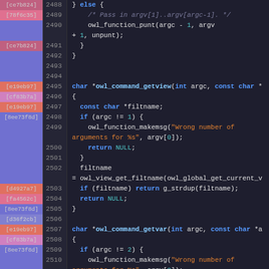[Figure (screenshot): Source code viewer showing C code with git blame annotations. Lines 2488-2515 of an owl command handler file, showing functions owl_command_getview and owl_command_getvar with blame columns (commit hashes in colored boxes), line numbers, and syntax-highlighted C code.]